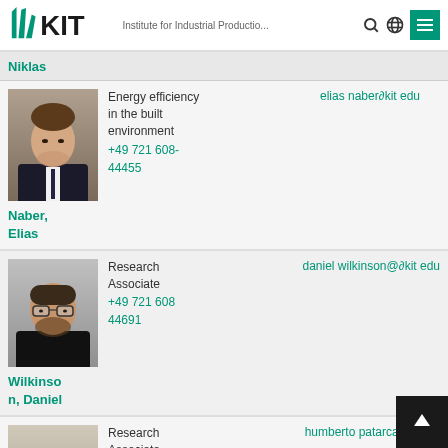KIT — Institute for Industrial Productio...
Niklas
[Figure (photo): Headshot of Elias Naber, a young man in a suit]
Energy efficiency in the built environment
+49 721 608-44455
elias naber∂kit edu
Naber, Elias
[Figure (photo): Headshot of Daniel Wilkinson, a man with glasses]
Research Associate
+49 721 608 44691
daniel wilkinson@∂kit edu
Wilkinson, Daniel
[Figure (photo): Headshot of Humberto Patarca, a bald man in a suit]
Research Associate
+49 721 608-44571
humberto patarca∂kit edu